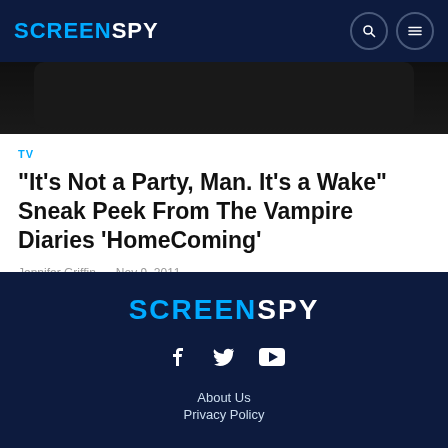SCREENSPY
[Figure (photo): Dark background image strip, partial view of a photo]
TV
“It’s Not a Party, Man. It’s a Wake” Sneak Peek From The Vampire Diaries ‘HomeComing’
Jennifer Griffin   Nov 9, 2011
SCREENSPY
About Us
Privacy Policy